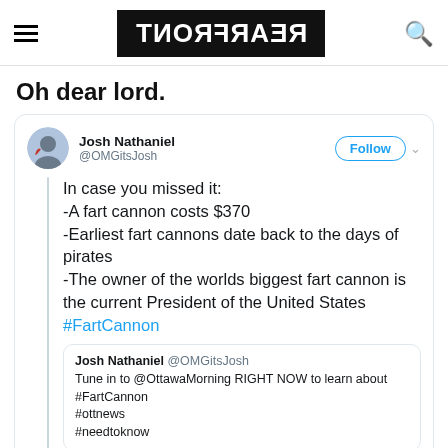REARFRONT (logo, mirrored)
Oh dear lord.
[Figure (screenshot): Tweet by Josh Nathaniel (@OMGitsJosh) reading: In case you missed it: -A fart cannon costs $370 -Earliest fart cannons date back to the days of pirates -The owner of the worlds biggest fart cannon is the current President of the United States #FartCannon. Includes a quoted tweet from Josh Nathaniel @OMGitsJosh: Tune in to @OttawaMorning RIGHT NOW to learn about #FartCannon #ottnews #needtoknow]